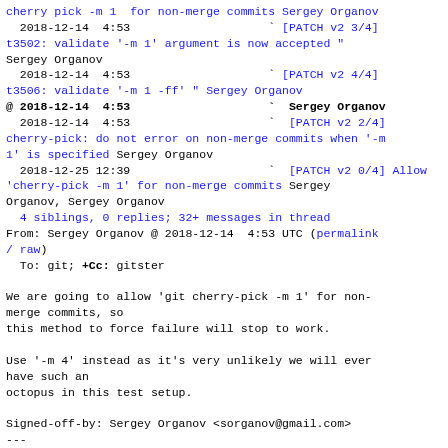cherry pick -m 1 for non-merge commits Sergey Organov
  2018-12-14  4:53                    ` [PATCH v2 3/4]
t3502: validate '-m 1' argument is now accepted " Sergey Organov
  2018-12-14  4:53                    ` [PATCH v2 4/4]
t3506: validate '-m 1 -ff' " Sergey Organov
@ 2018-12-14  4:53                    ` Sergey Organov
  2018-12-14  4:53                    ` [PATCH v2 2/4]
cherry-pick: do not error on non-merge commits when '-m
1' is specified Sergey Organov
  2018-12-25 12:39                    ` [PATCH v2 0/4] Allow
'cherry-pick -m 1' for non-merge commits Sergey
Organov, Sergey Organov
  4 siblings, 0 replies; 32+ messages in thread
From: Sergey Organov @ 2018-12-14  4:53 UTC (permalink
/ raw)
  To: git; +Cc: gitster

We are going to allow 'git cherry-pick -m 1' for non-
merge commits, so
this method to force failure will stop to work.

Use '-m 4' instead as it's very unlikely we will ever
have such an
octopus in this test setup.

Signed-off-by: Sergey Organov <sorganov@gmail.com>
---
 t/t3510-cherry-pick-sequence.sh | 8 ++++--
 1 file changed, 6 insertions(+), 2 deletions(-)